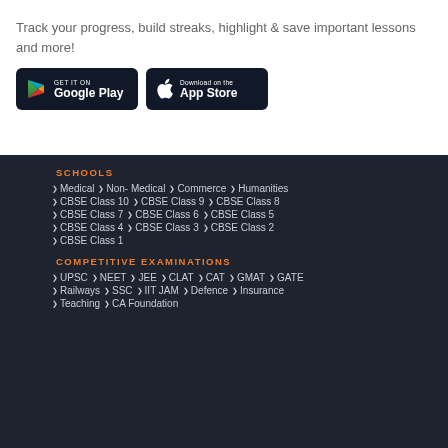Track your progress, build streaks, highlight & save important lessons and more!
[Figure (logo): Google Play store download button]
[Figure (logo): Apple App Store download button]
SCHOOLS
Medical  Non- Medical  Commerce  Humanities
CBSE Class 10  CBSE Class 9  CBSE Class 8
CBSE Class 7  CBSE Class 6  CBSE Class 5
CBSE Class 4  CBSE Class 3  CBSE Class 2
CBSE Class 1
COMPETITIVE EXAMINATIONS
UPSC  NEET  JEE  CLAT  CAT  GMAT  GATE
Railways  SSC  IIT JAM  Defence  Insurance
Teaching  CA Foundation